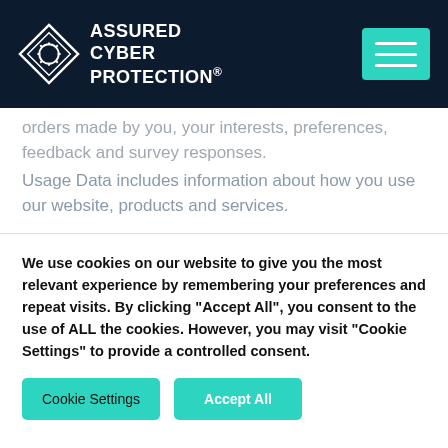Assured Cyber Protection®
orders made by you, your interests, preferences, feedback and survey responses.
Usage Data includes information about how you use our website, products and services.
Marketing and Communications Data includes your preferences in
We use cookies on our website to give you the most relevant experience by remembering your preferences and repeat visits. By clicking "Accept All", you consent to the use of ALL the cookies. However, you may visit "Cookie Settings" to provide a controlled consent.